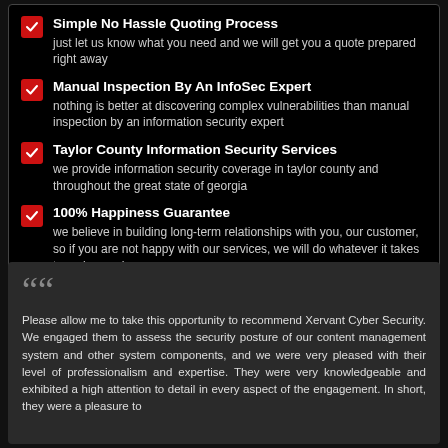Simple No Hassle Quoting Process
just let us know what you need and we will get you a quote prepared right away
Manual Inspection By An InfoSec Expert
nothing is better at discovering complex vulnerabilities than manual inspection by an information security expert
Taylor County Information Security Services
we provide information security coverage in taylor county and throughout the great state of georgia
100% Happiness Guarantee
we believe in building long-term relationships with you, our customer, so if you are not happy with our services, we will do whatever it takes to make you happy
Please allow me to take this opportunity to recommend Xervant Cyber Security. We engaged them to assess the security posture of our content management system and other system components, and we were very pleased with their level of professionalism and expertise. They were very knowledgeable and exhibited a high attention to detail in every aspect of the engagement. In short, they were a pleasure to